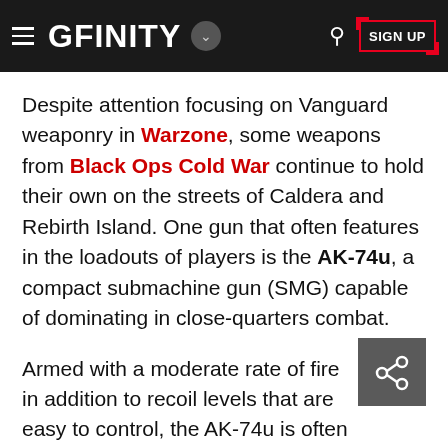GFINITY
Despite attention focusing on Vanguard weaponry in Warzone, some weapons from Black Ops Cold War continue to hold their own on the streets of Caldera and Rebirth Island. One gun that often features in the loadouts of players is the AK-74u, a compact submachine gun (SMG) capable of dominating in close-quarters combat.
Armed with a moderate rate of fire in addition to recoil levels that are easy to control, the AK-74u is often overlooked for other weapons in the